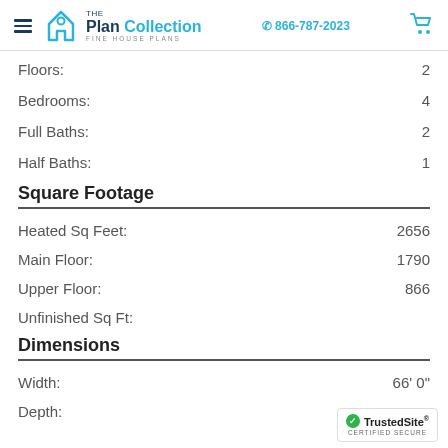The Plan Collection Fine House Plans | 866-787-2023
Floors: 2
Bedrooms: 4
Full Baths: 2
Half Baths: 1
Square Footage
Heated Sq Feet: 2656
Main Floor: 1790
Upper Floor: 866
Unfinished Sq Ft:
Dimensions
Width: 66' 0"
Depth: